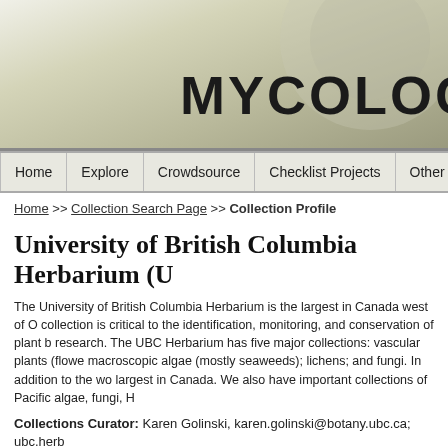[Figure (screenshot): Mycology Collection website banner header with large bold text 'MYCOLOGY CO' on an olive/khaki gradient background]
Home | Explore | Crowdsource | Checklist Projects | Other Resources | A
Home >> Collection Search Page >> Collection Profile
University of British Columbia Herbarium (U
The University of British Columbia Herbarium is the largest in Canada west of O collection is critical to the identification, monitoring, and conservation of plant b research. The UBC Herbarium has five major collections: vascular plants (flowe macroscopic algae (mostly seaweeds); lichens; and fungi. In addition to the wo largest in Canada. We also have important collections of Pacific algae, fungi, H
Collections Curator: Karen Golinski, karen.golinski@botany.ubc.ca; ubc.herb
Homepage: http://www.biodiversity.ubc.ca/museum/herbarium/index.html
Collection Type: Preserved Specimens
Management: Data snapshot of local collection database
Last Update: 4 December 2018